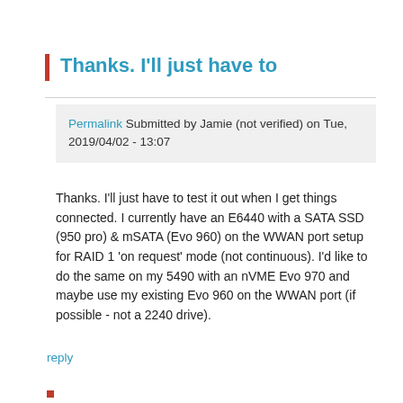Thanks. I'll just have to
Permalink Submitted by Jamie (not verified) on Tue, 2019/04/02 - 13:07
Thanks. I'll just have to test it out when I get things connected. I currently have an E6440 with a SATA SSD (950 pro) & mSATA (Evo 960) on the WWAN port setup for RAID 1 'on request' mode (not continuous). I'd like to do the same on my 5490 with an nVME Evo 970 and maybe use my existing Evo 960 on the WWAN port (if possible - not a 2240 drive).
reply